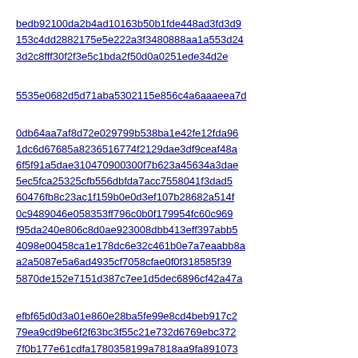a=sle...
bedb92100da2b4ad10163b50b1fde448ad3fd3d9 - Micha
153c4dd2882175e5e222a3f3480888aa1a553d24 - David
3d2c8fff30f2f3e5c1bda2f50d0a0251ede34d2e - Jonath r=Bas
5535e0682d5d71aba5302115e856c4a6aaaeea7d - Jonath buffer
0db64aa7af8d72e029799b538ba1e42fe12fda96 - Steve
1dc6d67685a8236516774f2129dae3df9ceaf48a - Steve
6f5f91a5dae310470900300f7b623a45634a3dae - Steve
5ec5fca25325cfb556dbfda7acc7558041f3dad5 - Steve
60476fb8c23ac1f159b0e0d3ef107b28682a514f - Steve
0c9489046e058353ff796c0b0f179954fc60c969 - Steve
f95da240e806c8d0ae923008dbb413eff397abb5 - Steve
4098e00458ca1e178dc6e32c461b0e7a7eaabb8a - Cosmi
a2a5087e5a6ad4935cf7058cfae0f0f318585f39 - Tim Ta
5870de152e7151d387c7ee1d5dec6896cf42a47a - Sami J timer f
efbf65d0d3a01e860e28ba5fe99e8cd4beb917c2 - Terren
79ea9cd9be6f2f63bc3f55c21e732d6769ebc372 - Ryan V
7f0b177e61cdfa1780358199a7818aa9fa891073 - Boris J
44a0d7a4230b9ee274a0273fb41095e07c2a5626 - Terren
068f732a0dc4d799a44be13248df543f947fae6d - Gijs K
0be5734ba2895b1bdb96d922cbbdfcc7681b9015 - Zack V
aae3600e0e640950bbd31b6359689c3efcbb7643 - Zack V
dafc4aa317ee00a9f71b3c1749bc42b159cca057 - Brian